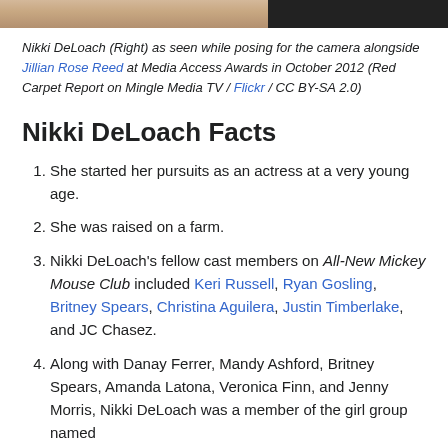[Figure (photo): Cropped photo strip showing two people, one in lighter clothing on the left and one in a dark top on the right]
Nikki DeLoach (Right) as seen while posing for the camera alongside Jillian Rose Reed at Media Access Awards in October 2012 (Red Carpet Report on Mingle Media TV / Flickr / CC BY-SA 2.0)
Nikki DeLoach Facts
She started her pursuits as an actress at a very young age.
She was raised on a farm.
Nikki DeLoach's fellow cast members on All-New Mickey Mouse Club included Keri Russell, Ryan Gosling, Britney Spears, Christina Aguilera, Justin Timberlake, and JC Chasez.
Along with Danay Ferrer, Mandy Ashford, Britney Spears, Amanda Latona, Veronica Finn, and Jenny Morris, Nikki DeLoach was a member of the girl group named